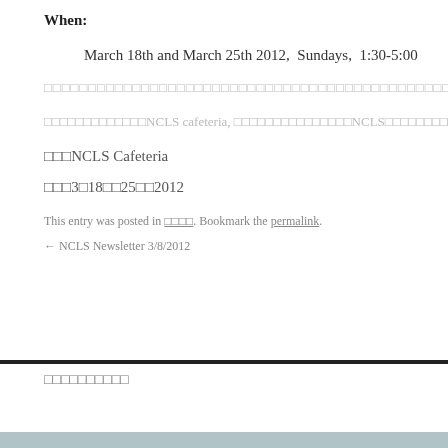When:
March 18th and March 25th 2012,  Sundays,  1:30-5:00
□□□□□□□□□□□□□□□□□□□□□□□□□□□□□□□□□□□□□□□□□□□□□□□□□□□□□□□□□□□□□□□□□□□□□□□□□□
□□□□□□□□□□□□□NCLS cafeteria, □□□□□□□□□□□□□□□NCLS□□□□□□□□□□□□□□
□□□NCLS Cafeteria
□□□3□18□□25□□2012
This entry was posted in □□□□. Bookmark the permalink.
← NCLS Newsletter 3/8/2012
□□□□□□□□□□